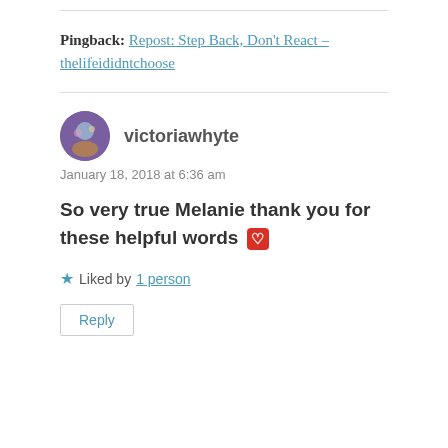Pingback: Repost: Step Back, Don't React – thelifeididntchoose
victoriawhyte
January 18, 2018 at 6:36 am
So very true Melanie thank you for these helpful words ❤
Liked by 1 person
Reply